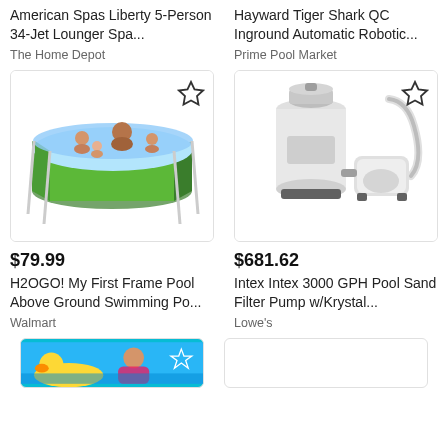American Spas Liberty 5-Person 34-Jet Lounger Spa...
The Home Depot
Hayward Tiger Shark QC Inground Automatic Robotic...
Prime Pool Market
[Figure (photo): H2OGO! above ground rectangular frame pool with green sides, family of 4 splashing inside]
[Figure (photo): Intex 3000 GPH pool sand filter pump with Krystal Clear system, white units with hose]
$79.99
H2OGO! My First Frame Pool Above Ground Swimming Po...
Walmart
$681.62
Intex Intex 3000 GPH Pool Sand Filter Pump w/Krystal...
Lowe's
[Figure (photo): Partial view of pool float with yellow duck and person in water, turquoise background]
[Figure (photo): Partial view of white product card, cut off at bottom]